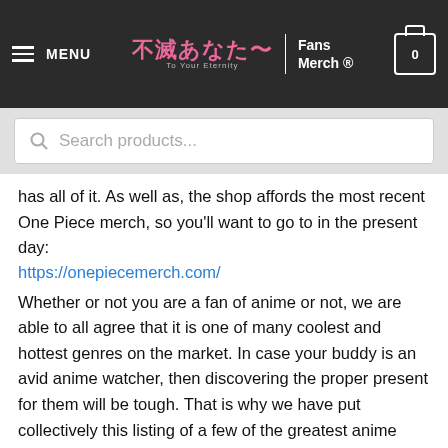MENU | 不滅あなた~ Fans Merch ® | 0
Search products...
has all of it. As well as, the shop affords the most recent One Piece merch, so you'll want to go to in the present day: https://onepiecemerch.com/
Whether or not you are a fan of anime or not, we are able to all agree that it is one of many coolest and hottest genres on the market. In case your buddy is an avid anime watcher, then discovering the proper present for them will be tough. That is why we have put collectively this listing of a few of the greatest anime items on the market in order that you do not have to fret about something. From rug mats to keychains, we have one thing for everybody on our listing. So what are you ready for? Give our high picks a attempt!